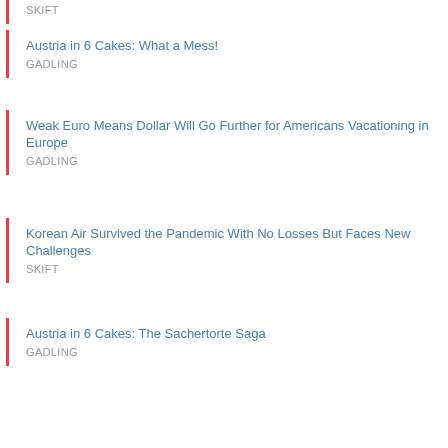SKIFT
Austria in 6 Cakes: What a Mess!
GADLING
Weak Euro Means Dollar Will Go Further for Americans Vacationing in Europe
GADLING
Korean Air Survived the Pandemic With No Losses But Faces New Challenges
SKIFT
Austria in 6 Cakes: The Sachertorte Saga
GADLING